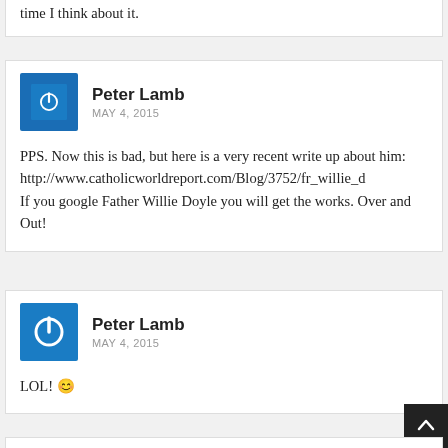time I think about it.
Peter Lamb
MAY 4, 2015
PPS. Now this is bad, but here is a very recent write up about him: http://www.catholicworldreport.com/Blog/3752/fr_willie_d If you google Father Willie Doyle you will get the works. Over and Out!
Peter Lamb
MAY 4, 2015
LOL! 🙂